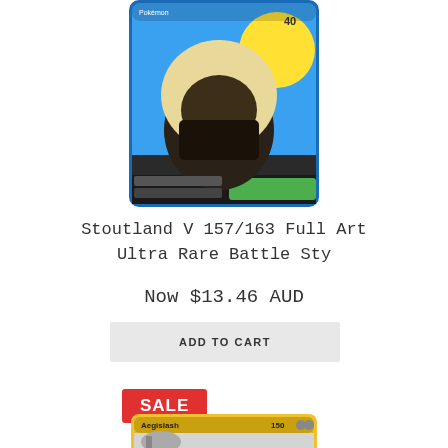[Figure (photo): Stoutland V Pokemon trading card - Full Art Ultra Rare, colorful illustration with Stoutland pokemon on blue/yellow background, card number 157/163]
Stoutland V 157/163 Full Art Ultra Rare Battle Sty
Now $13.46 AUD
ADD TO CART
SALE
[Figure (photo): Aegislash Pokemon trading card - partially visible, showing card name Aegislash and HP 150]